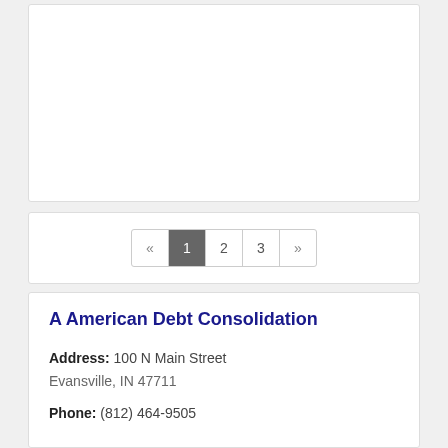[Figure (other): Empty white card area at top of page]
« 1 2 3 »
A American Debt Consolidation
Address: 100 N Main Street
Evansville, IN 47711
Phone: (812) 464-9505